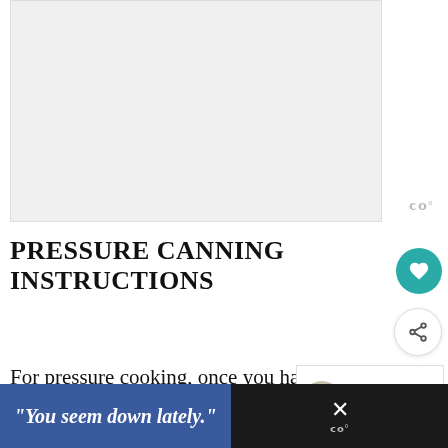[Figure (other): Advertisement placeholder box (gray/white rectangle)]
PRESSURE CANNING INSTRUCTIONS
For pressure cooking, once you have skimmed the fat from the chicken stock, reheat the stock and prepare mason jars.
[Figure (other): "What's Next" widget showing Easy Homemade... with thumbnail]
[Figure (other): Bottom ad banner: "You seem down lately."]